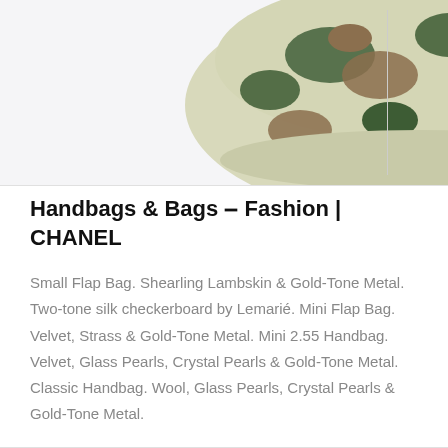[Figure (photo): A camouflage pattern handbag/backpack with green, brown, and tan camouflage print, photographed against a light gray background with a vertical divider line on the right side.]
Handbags & Bags - Fashion | CHANEL
Small Flap Bag. Shearling Lambskin & Gold-Tone Metal. Two-tone silk checkerboard by Lemarié. Mini Flap Bag. Velvet, Strass & Gold-Tone Metal. Mini 2.55 Handbag. Velvet, Glass Pearls, Crystal Pearls & Gold-Tone Metal. Classic Handbag. Wool, Glass Pearls, Crystal Pearls & Gold-Tone Metal.
Read more